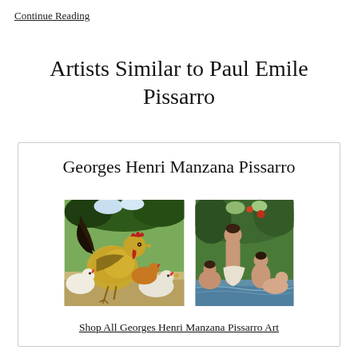Continue Reading
Artists Similar to Paul Emile Pissarro
Georges Henri Manzana Pissarro
[Figure (photo): Two paintings side by side: left painting shows roosters and chickens in a lush green setting; right painting depicts nude figures bathing in a green outdoor scene.]
Shop All Georges Henri Manzana Pissarro Art